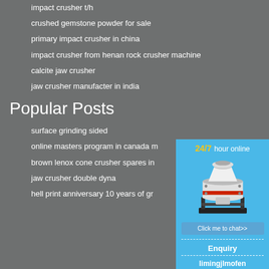impact crusher t/h
crushed gemstone powder for sale
primary impact crusher in china
impact crusher from henan rock crusher machine
calcite jaw crusher
jaw crusher manufacter in india
Popular Posts
surface grinding sided
online masters program in canada m
brown lenox cone crusher spares in
jaw crusher double dyna
hell print anniversary 10 years of gr
[Figure (infographic): 24/7 hour online widget with a cone crusher machine image, a 'Click me to chat>>' button, an Enquiry section header, and limingjlmofen text at the bottom, on a blue background]